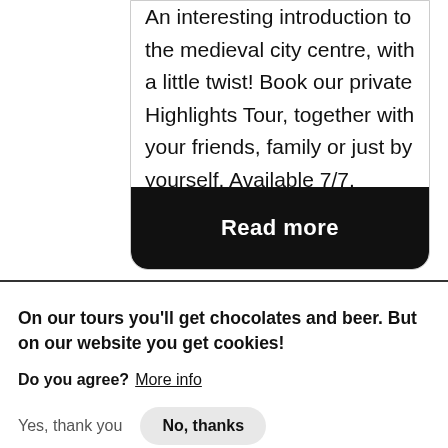[Figure (other): Hamburger menu icon (three horizontal lines)]
[Figure (other): Dutch flag icon]
[Figure (other): UK flag icon]
An interesting introduction to the medieval city centre, with a little twist! Book our private Highlights Tour, together with your friends, family or just by yourself. Available 7/7.
Read more
On our tours you'll get chocolates and beer. But on our website you get cookies!
Do you agree? More info
Yes, thank you
No, thanks